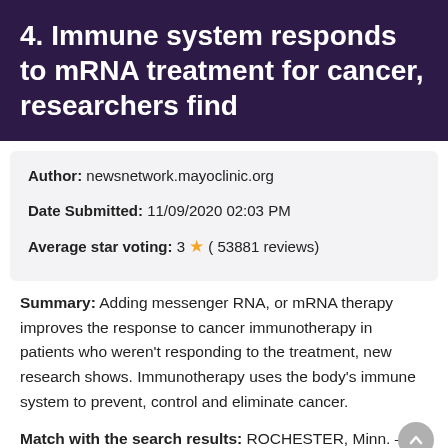4. Immune system responds to mRNA treatment for cancer, researchers find
Author: newsnetwork.mayoclinic.org
Date Submitted: 11/09/2020 02:03 PM
Average star voting: 3 ★ ( 53881 reviews)
Summary: Adding messenger RNA, or mRNA therapy improves the response to cancer immunotherapy in patients who weren't responding to the treatment, new research shows. Immunotherapy uses the body's immune system to prevent, control and eliminate cancer.
Match with the search results: ROCHESTER, Minn. — Adding messenger RNA, or mRNA therapy improves the